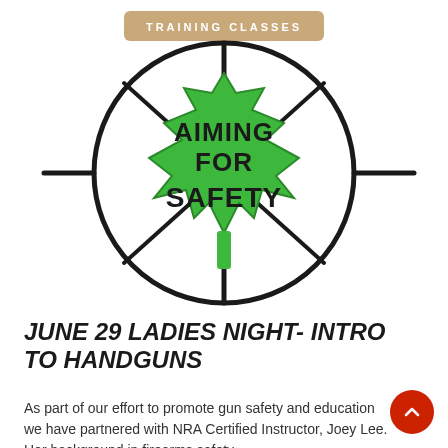[Figure (logo): Aiming for Safety logo: a green maple leaf with the text AIMING FOR SAFETY inside, overlaid on a circular crosshair/scope graphic. A tan banner above reads TRAINING CLASSES.]
JUNE 29 LADIES NIGHT- INTRO TO HANDGUNS
As part of our effort to promote gun safety and education we have partnered with NRA Certified Instructor, Joey Lee. Her background in firearms safety…